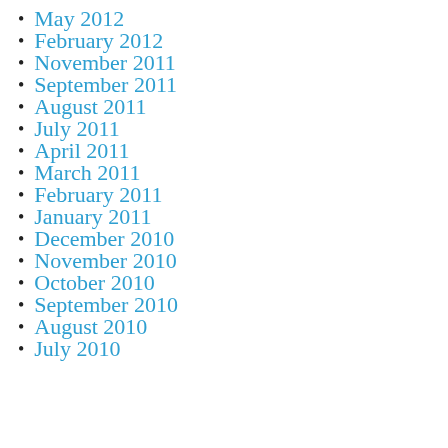May 2012
February 2012
November 2011
September 2011
August 2011
July 2011
April 2011
March 2011
February 2011
January 2011
December 2010
November 2010
October 2010
September 2010
August 2010
July 2010